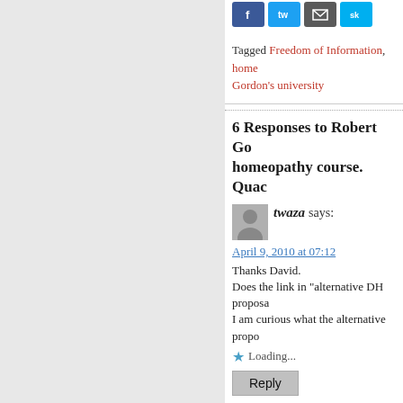[Figure (other): Social share buttons: Facebook, Twitter, Email, another social button (partially visible)]
Tagged Freedom of Information, home... Gordon's university
6 Responses to Robert Gor... homeopathy course. Quac...
twaza says:
April 9, 2010 at 07:12
Thanks David.
Does the link in "alternative DH proposa...
I am curious what the alternative propo...
Loading...
Reply
Dave Hodgkinson Music Photog... bacteria, literally, multi-tasking -...
says:
April 9, 2010 at 09:47
[...] title evar: "Quackademia is crumb...
Loading...